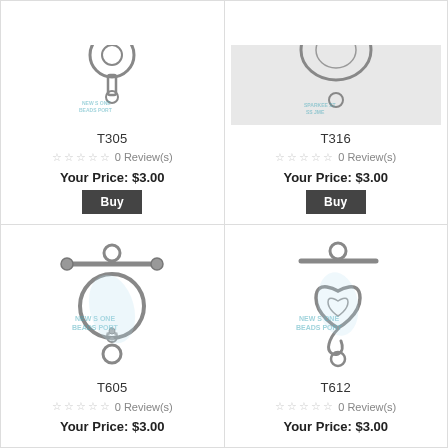[Figure (photo): Silver toggle clasp T305, partial top view]
T305
0 Review(s)
Your Price: $3.00
[Figure (photo): Silver toggle clasp T316, partial top view]
T316
0 Review(s)
Your Price: $3.00
[Figure (photo): Silver toggle clasp T605, round ring with flower decoration and bar]
T605
0 Review(s)
Your Price: $3.00
[Figure (photo): Silver toggle clasp T612, heart-shaped clasp with bar]
T612
0 Review(s)
Your Price: $3.00